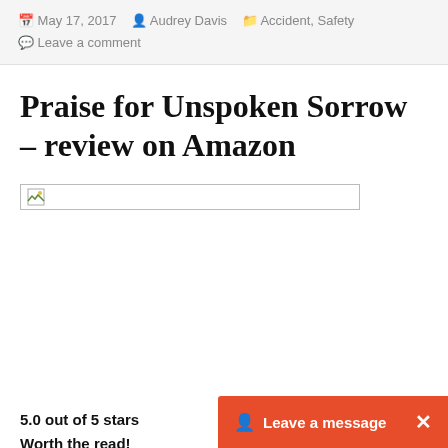May 17, 2017  Audrey Davis  Accident, Safety  Leave a comment
Praise for Unspoken Sorrow – review on Amazon
[Figure (other): Broken/unloaded image placeholder with small icon in top-left corner, inside a rectangular bordered box]
5.0 out of 5 stars
Worth the read!
Bychaseron April 15, 2017